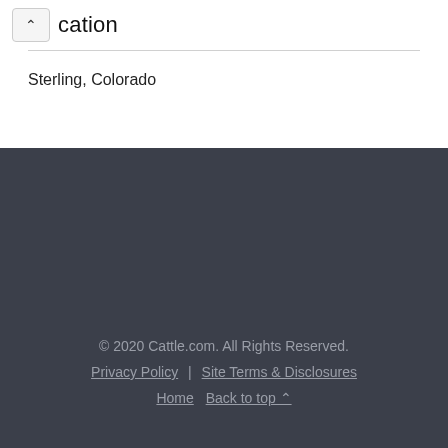cation
Sterling, Colorado
© 2020 Cattle.com. All Rights Reserved. Privacy Policy | Site Terms & Disclosures Home Back to top ^